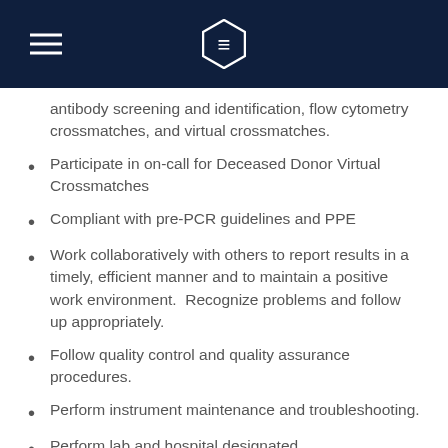antibody screening and identification, flow cytometry crossmatches, and virtual crossmatches.
Participate in on-call for Deceased Donor Virtual Crossmatches
Compliant with pre-PCR guidelines and PPE
Work collaboratively with others to report results in a timely, efficient manner and to maintain a positive work environment.  Recognize problems and follow up appropriately.
Follow quality control and quality assurance procedures.
Perform instrument maintenance and troubleshooting.
Perform lab and hospital designated